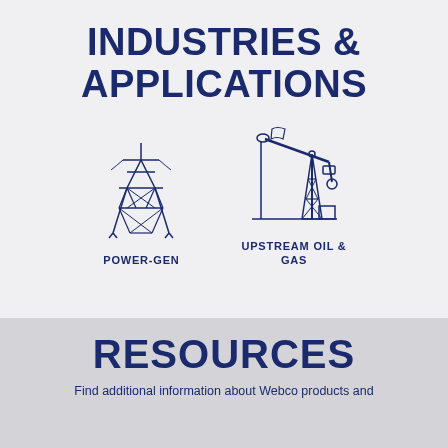INDUSTRIES & APPLICATIONS
[Figure (illustration): Two industry icons side by side: a power transmission tower (POWER-GEN) and an oil pump jack (UPSTREAM OIL & GAS), drawn in dark navy blue line art style.]
POWER-GEN
UPSTREAM OIL & GAS
RESOURCES
Find additional information about Webco products and